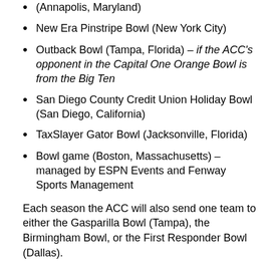(Annapolis, Maryland)
New Era Pinstripe Bowl (New York City)
Outback Bowl (Tampa, Florida) – if the ACC's opponent in the Capital One Orange Bowl is from the Big Ten
San Diego County Credit Union Holiday Bowl (San Diego, California)
TaxSlayer Gator Bowl (Jacksonville, Florida)
Bowl game (Boston, Massachusetts) – managed by ESPN Events and Fenway Sports Management
Each season the ACC will also send one team to either the Gasparilla Bowl (Tampa), the Birmingham Bowl, or the First Responder Bowl (Dallas).